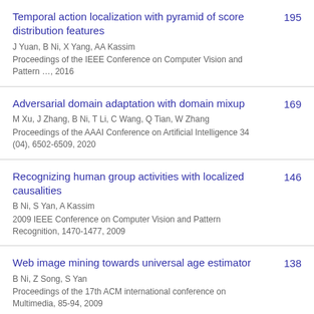Temporal action localization with pyramid of score distribution features | 195 | J Yuan, B Ni, X Yang, AA Kassim | Proceedings of the IEEE Conference on Computer Vision and Pattern …, 2016
Adversarial domain adaptation with domain mixup | 169 | M Xu, J Zhang, B Ni, T Li, C Wang, Q Tian, W Zhang | Proceedings of the AAAI Conference on Artificial Intelligence 34 (04), 6502-6509, 2020
Recognizing human group activities with localized causalities | 146 | B Ni, S Yan, A Kassim | 2009 IEEE Conference on Computer Vision and Pattern Recognition, 1470-1477, 2009
Web image mining towards universal age estimator | 138 | B Ni, Z Song, S Yan | Proceedings of the 17th ACM international conference on Multimedia, 85-94, 2009